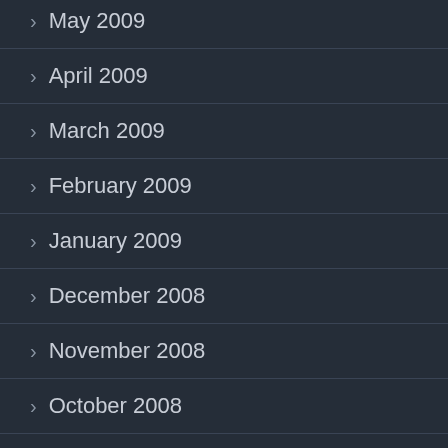> May 2009
> April 2009
> March 2009
> February 2009
> January 2009
> December 2008
> November 2008
> October 2008
> September 2008